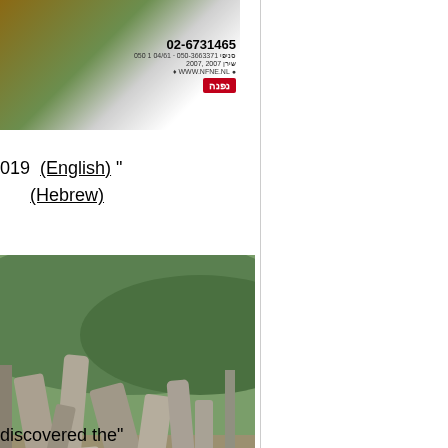[Figure (photo): Advertisement image with phone number 02-6731465 and Hebrew text, red logo]
019  (English) "
(Hebrew)
[Figure (photo): Old Jewish cemetery with toppled gravestones, green hills in background]
discovered the"